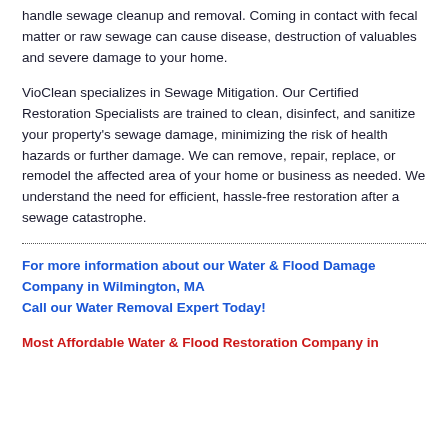handle sewage cleanup and removal. Coming in contact with fecal matter or raw sewage can cause disease, destruction of valuables and severe damage to your home.
VioClean specializes in Sewage Mitigation. Our Certified Restoration Specialists are trained to clean, disinfect, and sanitize your property's sewage damage, minimizing the risk of health hazards or further damage. We can remove, repair, replace, or remodel the affected area of your home or business as needed. We understand the need for efficient, hassle-free restoration after a sewage catastrophe.
For more information about our Water & Flood Damage Company in Wilmington, MA
Call our Water Removal Expert Today!
Most Affordable Water & Flood Restoration Company in